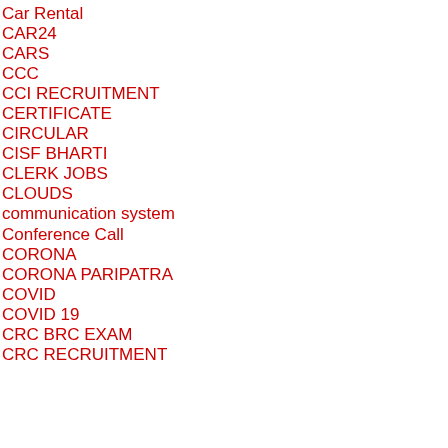Car Rental
CAR24
CARS
CCC
CCI RECRUITMENT
CERTIFICATE
CIRCULAR
CISF BHARTI
CLERK JOBS
CLOUDS
communication system
Conference Call
CORONA
CORONA PARIPATRA
COVID
COVID 19
CRC BRC EXAM
CRC RECRUITMENT